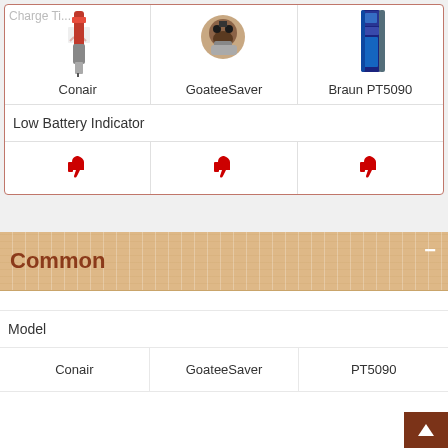| Conair | GoateeSaver | Braun PT5090 |
| --- | --- | --- |
| Low Battery Indicator | Low Battery Indicator | Low Battery Indicator |
| [thumbs down] | [thumbs down] | [thumbs down] |
Common
| Conair | GoateeSaver | PT5090 |
| --- | --- | --- |
| Model | Model | Model |
| Conair | GoateeSaver | PT5090 |